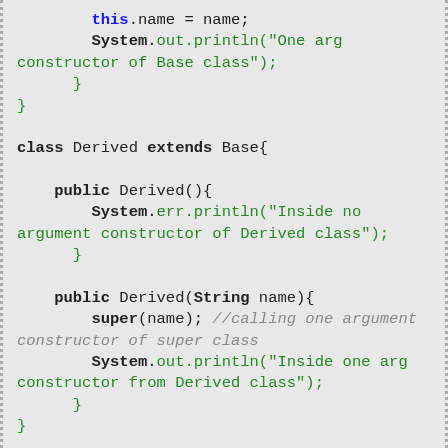this.name = name;
            System.out.println("One arg constructor of Base class");
      }
}

class Derived extends Base{

    public Derived(){
            System.err.println("Inside no argument constructor of Derived class");
      }

    public Derived(String name){
            super(name); //calling one argument constructor of super class
            System.out.println("Inside one arg constructor from Derived class");
      }
}